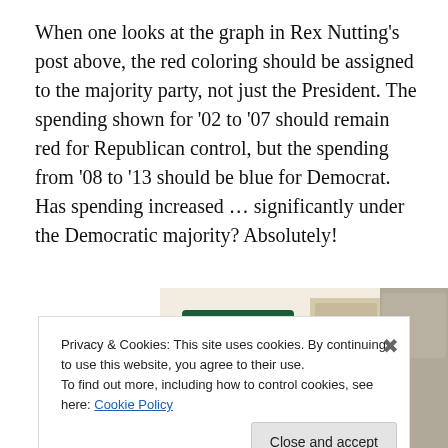When one looks at the graph in Rex Nutting’s post above, the red coloring should be assigned to the majority party, not just the President. The spending shown for ’02 to ’07 should remain red for Republican control, but the spending from ’08 to ’13 should be blue for Democrat. Has spending increased … significantly under the Democratic majority? Absolutely!
[Figure (screenshot): Advertisement banner with green 'Explore options' button on beige background with food images]
Privacy & Cookies: This site uses cookies. By continuing to use this website, you agree to their use.
To find out more, including how to control cookies, see here: Cookie Policy
Close and accept